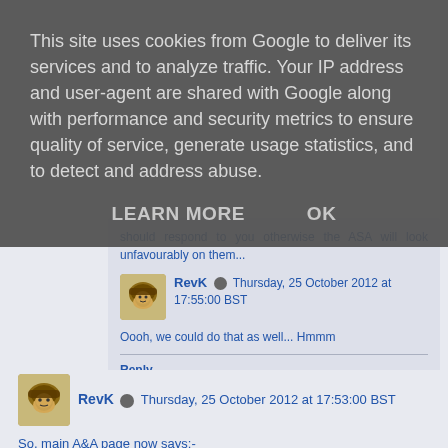This site uses cookies from Google to deliver its services and to analyze traffic. Your IP address and user-agent are shared with Google along with performance and security metrics to ensure quality of service, generate usage statistics, and to detect and address abuse.
LEARN MORE    OK
should respond to you otherwise the ASA will look unfavourably on them...
RevK  Thursday, 25 October 2012 at 17:55:00 BST
Oooh, we could do that as well... Hmmm
Reply
RevK  Thursday, 25 October 2012 at 17:53:00 BST
So, main A&A page now says:-